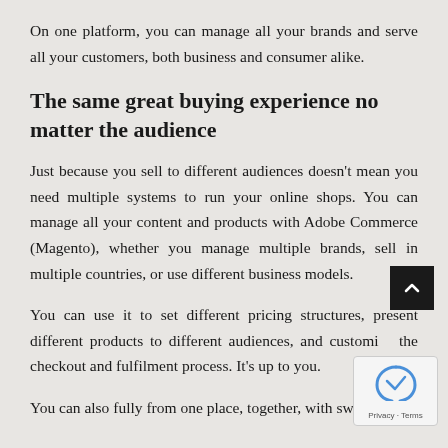On one platform, you can manage all your brands and serve all your customers, both business and consumer alike.
The same great buying experience no matter the audience
Just because you sell to different audiences doesn't mean you need multiple systems to run your online shops. You can manage all your content and products with Adobe Commerce (Magento), whether you manage multiple brands, sell in multiple countries, or use different business models.
You can use it to set different pricing structures, present different products to different audiences, and customize the checkout and fulfilment process. It's up to you.
You can also fully from one place, together, with switching